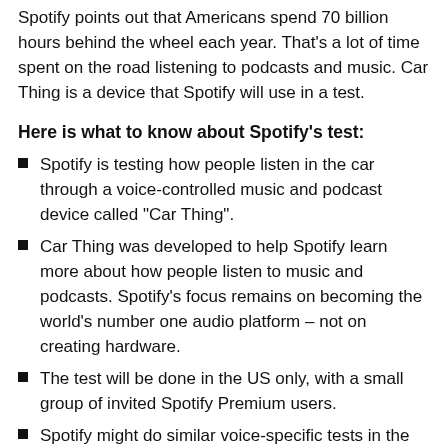Spotify points out that Americans spend 70 billion hours behind the wheel each year. That’s a lot of time spent on the road listening to podcasts and music. Car Thing is a device that Spotify will use in a test.
Here is what to know about Spotify’s test:
Spotify is testing how people listen in the car through a voice-controlled music and podcast device called “Car Thing”.
Car Thing was developed to help Spotify learn more about how people listen to music and podcasts. Spotify’s focus remains on becoming the world’s number one audio platform – not on creating hardware.
The test will be done in the US only, with a small group of invited Spotify Premium users.
Spotify might do similar voice-specific tests in the future, which could potentially involve a